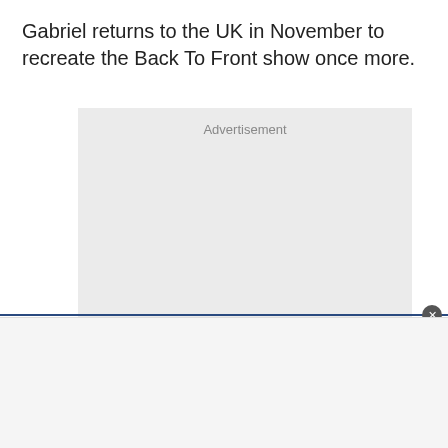Gabriel returns to the UK in November to recreate the Back To Front show once more.
[Figure (other): Advertisement placeholder box with light grey background and 'Advertisement' label at top center]
[Figure (other): Bottom panel with close button (X) on right side, light grey background, separated by a dark blue horizontal bar]